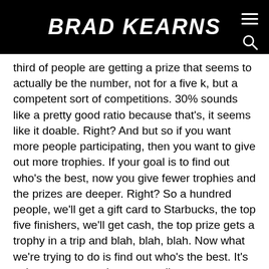BRAD KEARNS
third of people are getting a prize that seems to actually be the number, not for a five k, but a competent sort of competitions. 30% sounds like a pretty good ratio because that's, it seems like it doable. Right? And but so if you want more people participating, then you want to give out more trophies. If your goal is to find out who's the best, now you give fewer trophies and the prizes are deeper. Right? So a hundred people, we'll get a gift card to Starbucks, the top five finishers, we'll get cash, the top prize gets a trophy in a trip and blah, blah, blah. Now what we're trying to do is find out who's the best. It's going to mean we have a smaller entrance pool, but we'll get better performances.
Ashley: 00:52:18 Hmm. So you have to ask, why are you actually trying to have this competition and be mindful of it. But that is so different than the Oh, every kid gets a trophy because they're not thinking about how it affects the community, how it affects their team, how it affects the player individually. And that's another one of those